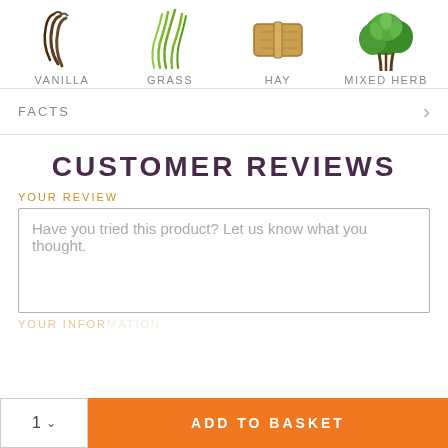[Figure (illustration): Four ingredient icons in a row: vanilla bean, grass stalks, hay bale, mixed herbs]
VANILLA
GRASS
HAY
MIXED HERB
FACTS
CUSTOMER REVIEWS
YOUR REVIEW
Have you tried this product? Let us know what you thought.
ADD TO BASKET